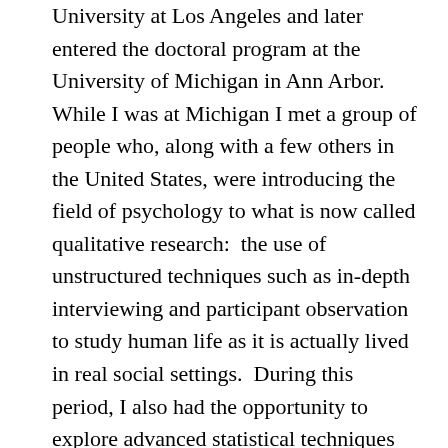University at Los Angeles and later entered the doctoral program at the University of Michigan in Ann Arbor.  While I was at Michigan I met a group of people who, along with a few others in the United States, were introducing the field of psychology to what is now called qualitative research:  the use of unstructured techniques such as in-depth interviewing and participant observation to study human life as it is actually lived in real social settings.  During this period, I also had the opportunity to explore advanced statistical techniques and the fundamental concepts, assumptions, and limitations of standard psychological research.  This work culminated in my book Self-Esteem and Meaning:  A Life-Historical Investigation, an in-depth interview study of the experience of self-esteem and a critique of contemporary psychological methods.  Over the next three decades I worked in the field of clinical